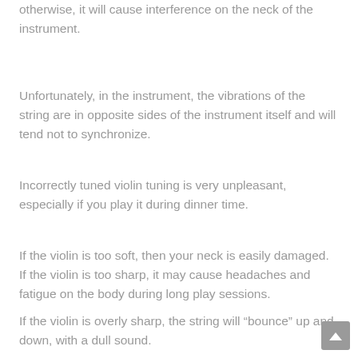otherwise, it will cause interference on the neck of the instrument.
Unfortunately, in the instrument, the vibrations of the string are in opposite sides of the instrument itself and will tend not to synchronize.
Incorrectly tuned violin tuning is very unpleasant, especially if you play it during dinner time.
If the violin is too soft, then your neck is easily damaged. If the violin is too sharp, it may cause headaches and fatigue on the body during long play sessions.
If the violin is overly sharp, the string will “bounce” up and down, with a dull sound.
Even if the violin is a natural “soft” tuning, the instrument may require a tuning machine or even special strings to correct the